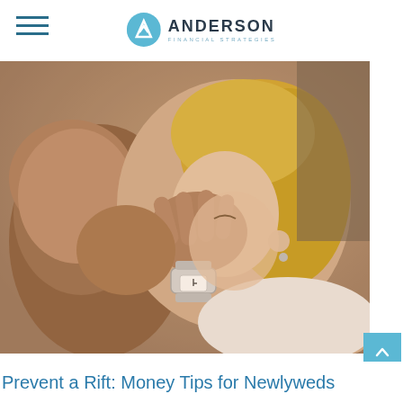Anderson Financial Strategies
[Figure (photo): An older man kissing the cheek of a smiling woman with long blonde hair. The woman is wearing a white dress and a watch. The man has his arm around her shoulders.]
Prevent a Rift: Money Tips for Newlyweds